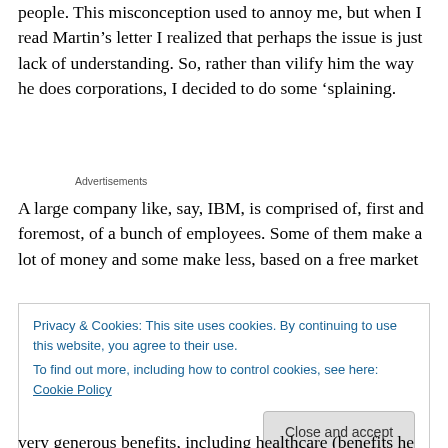people. This misconception used to annoy me, but when I read Martin’s letter I realized that perhaps the issue is just lack of understanding. So, rather than vilify him the way he does corporations, I decided to do some ‘splaining.
Advertisements
A large company like, say, IBM, is comprised of, first and foremost, of a bunch of employees. Some of them make a lot of money and some make less, based on a free market
Privacy & Cookies: This site uses cookies. By continuing to use this website, you agree to their use.
To find out more, including how to control cookies, see here: Cookie Policy
Close and accept
very generous benefits, including healthcare (benefits he